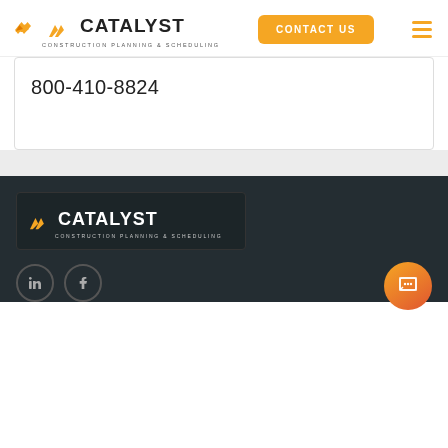[Figure (logo): Catalyst Construction Planning & Scheduling logo with orange arrow/stripe icon and dark text]
CONTACT US
800-410-8824
[Figure (logo): Catalyst Construction Planning & Scheduling logo in white text with orange icon on dark background]
[Figure (other): LinkedIn and Facebook social media icon circles]
[Figure (other): Orange chat bubble widget icon]